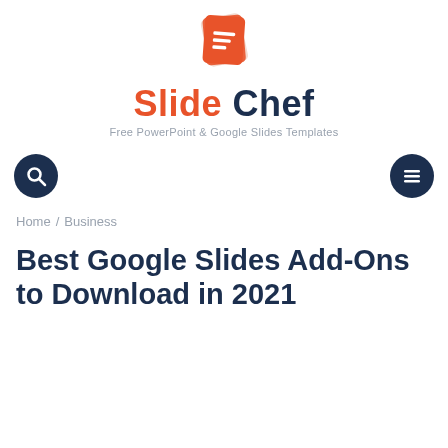[Figure (logo): SlideChef logo: stacked orange/red card icon with white lines, followed by 'Slide' in orange and 'Chef' in dark navy bold text, tagline 'Free PowerPoint & Google Slides Templates' in gray]
Home / Business
Best Google Slides Add-Ons to Download in 2021